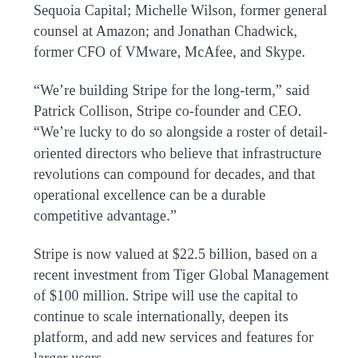Sequoia Capital; Michelle Wilson, former general counsel at Amazon; and Jonathan Chadwick, former CFO of VMware, McAfee, and Skype.
“We’re building Stripe for the long-term,” said Patrick Collison, Stripe co-founder and CEO. “We’re lucky to do so alongside a roster of detail-oriented directors who believe that infrastructure revolutions can compound for decades, and that operational excellence can be a durable competitive advantage.”
Stripe is now valued at $22.5 billion, based on a recent investment from Tiger Global Management of $100 million. Stripe will use the capital to continue to scale internationally, deepen its platform, and add new services and features for larger users.